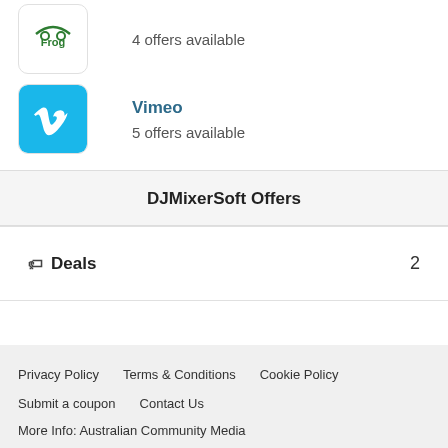4 offers available
Vimeo
5 offers available
DJMixerSoft Offers
Deals  2
Privacy Policy   Terms & Conditions   Cookie Policy   Submit a coupon   Contact Us   More Info: Australian Community Media